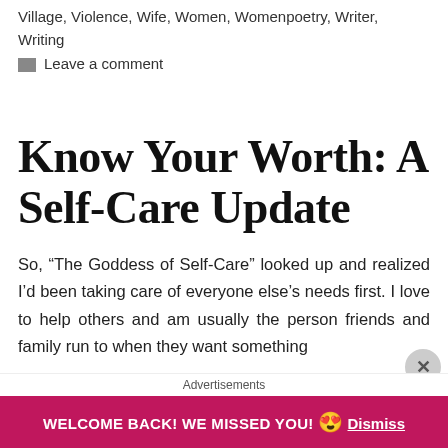Village, Violence, Wife, Women, Womenpoetry, Writer, Writing
Leave a comment
Know Your Worth: A Self-Care Update
So, “The Goddess of Self-Care” looked up and realized I’d been taking care of everyone else’s needs first. I love to help others and am usually the person friends and family run to when they want something
Advertisements
WELCOME BACK! WE MISSED YOU! 😍 Dismiss